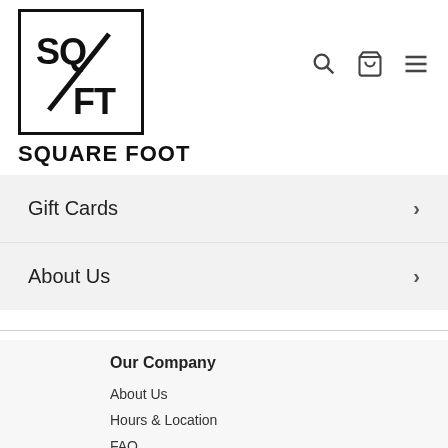[Figure (logo): Square Foot logo: SQ/FT in bold distressed font inside a black rectangle border, with SQUARE FOOT text below]
Gift Cards >
About Us >
Our Company
About Us
Hours & Location
FAQ